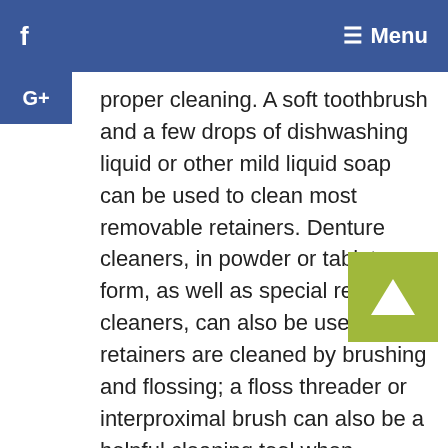f   ☰ Menu
proper cleaning. A soft toothbrush and a few drops of dishwashing liquid or other mild liquid soap can be used to clean most removable retainers. Denture cleaners, in powder or tablet form, as well as special retainer cleaners, can also be used. Fixed retainers are cleaned by brushing and flossing; a floss threader or interproximal brush can also be a helpful cleaning tool when needed.
Finally, remember to always carry — and use — a retainer case. You'd be surprised how many retainers end up folded in a napkin